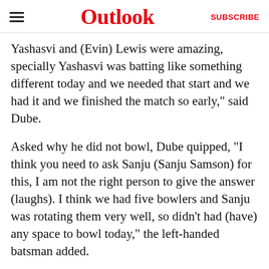Outlook   SUBSCRIBE
Yashasvi and (Evin) Lewis were amazing, specially Yashasvi was batting like something different today and we needed that start and we had it and we finished the match so early,” said Dube.
Asked why he did not bowl, Dube quipped, “I think you need to ask Sanju (Sanju Samson) for this, I am not the right person to give the answer (laughs). I think we had five bowlers and Sanju was rotating them very well, so didn’t had (have) any space to bowl today,” the left-handed batsman added.
Chennai Super Kings hea… Fleming had words of pra… Ruturaj Gaikwad, who sla… 101, his maiden IPL hundred